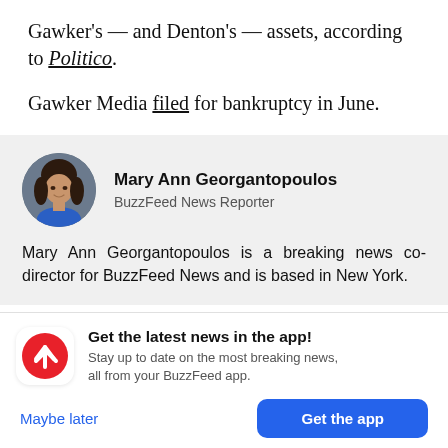Gawker's — and Denton's — assets, according to Politico.
Gawker Media filed for bankruptcy in June.
[Figure (photo): Circular headshot photo of Mary Ann Georgantopoulos, a woman with long dark hair wearing a blue top]
Mary Ann Georgantopoulos
BuzzFeed News Reporter
Mary Ann Georgantopoulos is a breaking news co-director for BuzzFeed News and is based in New York.
Get the latest news in the app! Stay up to date on the most breaking news, all from your BuzzFeed app.
Maybe later
Get the app